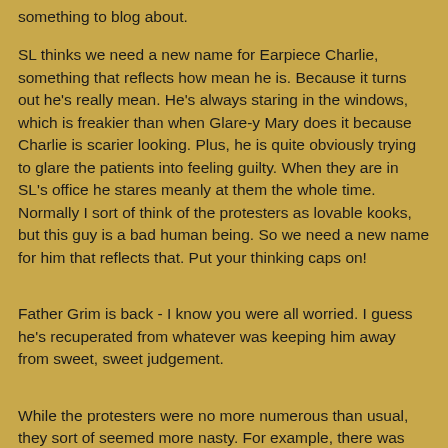something to blog about.
SL thinks we need a new name for Earpiece Charlie, something that reflects how mean he is. Because it turns out he's really mean. He's always staring in the windows, which is freakier than when Glare-y Mary does it because Charlie is scarier looking. Plus, he is quite obviously trying to glare the patients into feeling guilty. When they are in SL's office he stares meanly at them the whole time. Normally I sort of think of the protesters as lovable kooks, but this guy is a bad human being. So we need a new name for him that reflects that. Put your thinking caps on!
Father Grim is back - I know you were all worried. I guess he's recuperated from whatever was keeping him away from sweet, sweet judgement.
While the protesters were no more numerous than usual, they sort of seemed more nasty. For example, there was one patient who called from her car for directions, and she sounded fine. But then when she got to the clinic not five minutes later and came inside, she was visibly shaken and upset. The protesters were really giving her (as we say around